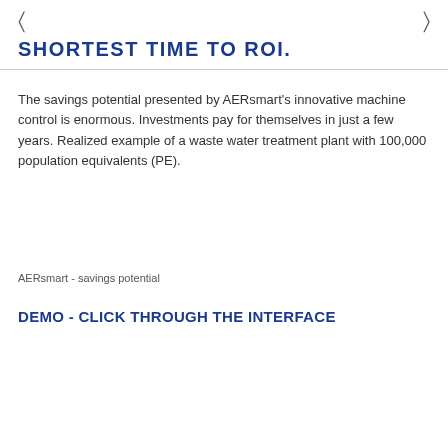◁  ▷
SHORTEST TIME TO ROI.
The savings potential presented by AERsmart's innovative machine control is enormous. Investments pay for themselves in just a few years. Realized example of a waste water treatment plant with 100,000 population equivalents (PE).
AERsmart - savings potential
DEMO - CLICK THROUGH THE INTERFACE